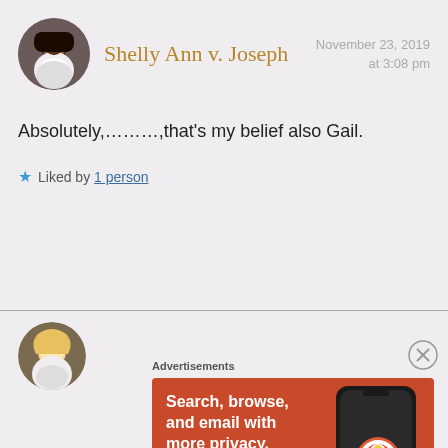Shelly Ann v. Joseph
November 23, 2019 at 3:08 pm
Absolutely,………,that's my belief also Gail.
Liked by 1 person
[Figure (photo): Profile photo of Shelly Ann v. Joseph, a Black woman]
[Figure (photo): Profile photo of a blonde woman]
[Figure (screenshot): DuckDuckGo advertisement banner: Search, browse, and email with more privacy. All in One Free App. Shows a phone mockup with DuckDuckGo logo.]
Advertisements